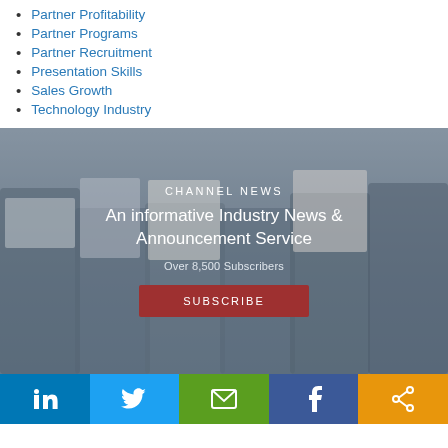Partner Profitability
Partner Programs
Partner Recruitment
Presentation Skills
Sales Growth
Technology Industry
[Figure (photo): Group of business people reading newspapers and using devices, shown from waist down against a light background, with blue-gray overlay]
CHANNEL NEWS
An informative Industry News & Announcement Service
Over 8,500 Subscribers
SUBSCRIBE
[Figure (infographic): Social media share bar with LinkedIn, Twitter, Email, Facebook, and Share icons on colored backgrounds]